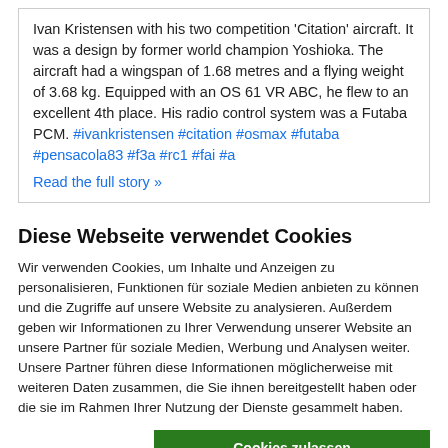Ivan Kristensen with his two competition 'Citation' aircraft. It was a design by former world champion Yoshioka. The aircraft had a wingspan of 1.68 metres and a flying weight of 3.68 kg. Equipped with an OS 61 VR ABC, he flew to an excellent 4th place. His radio control system was a Futaba PCM. #ivankristensen #citation #osmax #futaba #pensacola83 #f3a #rc1 #fai #a
Read the full story »
Diese Webseite verwendet Cookies
Wir verwenden Cookies, um Inhalte und Anzeigen zu personalisieren, Funktionen für soziale Medien anbieten zu können und die Zugriffe auf unsere Website zu analysieren. Außerdem geben wir Informationen zu Ihrer Verwendung unserer Website an unsere Partner für soziale Medien, Werbung und Analysen weiter. Unsere Partner führen diese Informationen möglicherweise mit weiteren Daten zusammen, die Sie ihnen bereitgestellt haben oder die sie im Rahmen Ihrer Nutzung der Dienste gesammelt haben.
Cookies zulassen
Auswahl erlauben
Nur notwendige Cookies
Notwendig  Präferenzen  Statistiken  Marketing  Details zeigen